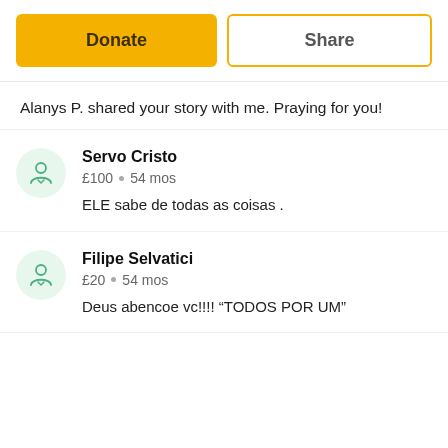[Figure (screenshot): Two buttons: orange 'Donate' button and white outlined 'Share' button]
Alanys P. shared your story with me. Praying for you!
Servo Cristo
£100 • 54 mos
ELE sabe de todas as coisas .
Filipe Selvatici
£20 • 54 mos
Deus abencoe vc!!!! "TODOS POR UM"